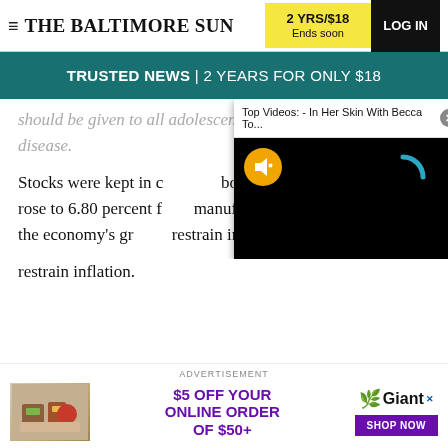THE BALTIMORE SUN | 2 YRS/$18 Ends soon | LOG IN
TRUSTED NEWS | 2 YEARS FOR ONLY $18
should be given to all adolescents not yet exposed to the disease.
Stocks were kept in ch... bonds. Yields on ben... rose to 6.80 percent f... manufacturing and la... that the economy's gr... restrain inflation.
[Figure (screenshot): Video player overlay showing 'Top Videos: - In Her Skin With Becca To...' with black screen, yellow mute button, and loading arc]
[Figure (screenshot): Advertisement: $5 OFF YOUR ONLINE ORDER OF $50+ with Giant grocery store logo and Shop Now button, with grocery bag image on left]